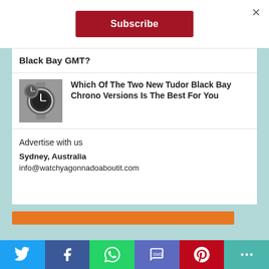×
Subscribe
Black Bay GMT?
Which Of The Two New Tudor Black Bay Chrono Versions Is The Best For You
Advertise with us
Sydney, Australia
info@watchyagonnadoaboutit.com